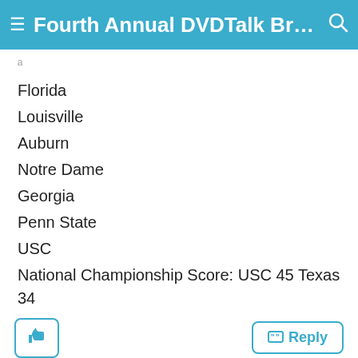Fourth Annual DVDTalk Braggin...
Florida
Louisville
Auburn
Notre Dame
Georgia
Penn State
USC
National Championship Score: USC 45 Texas 34
LurkerDan , 12-16-05 11:13 AM
DVD Talk Legend
so far, USC in a high scoring game seems to be the pick!
#10